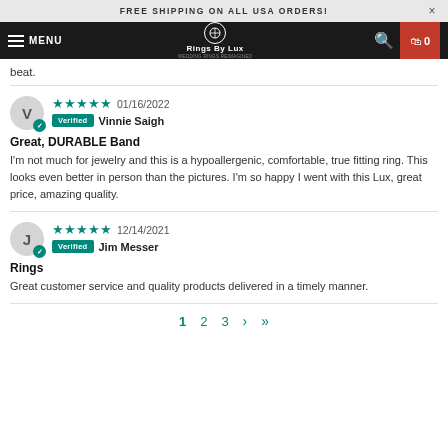FREE SHIPPING ON ALL USA ORDERS!
MENU  Rings By Lux  0
beat.
★★★★★ 01/16/2022  Verified Vinnie Saigh
Great, DURABLE Band
I'm not much for jewelry and this is a hypoallergenic, comfortable, true fitting ring. This looks even better in person than the pictures. I'm so happy I went with this Lux, great price, amazing quality.
★★★★★ 12/14/2021  Verified Jim Messer
Rings
Great customer service and quality products delivered in a timely manner.
1  2  3  ›  »